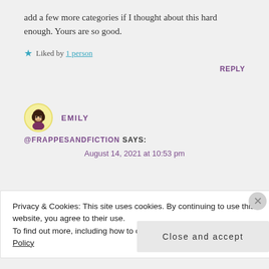add a few more categories if I thought about this hard enough. Yours are so good.
★ Liked by 1 person
REPLY
EMILY @FRAPPESANDFICTION SAYS:
August 14, 2021 at 10:53 pm
Privacy & Cookies: This site uses cookies. By continuing to use this website, you agree to their use. To find out more, including how to control cookies, see here: Cookie Policy
Close and accept